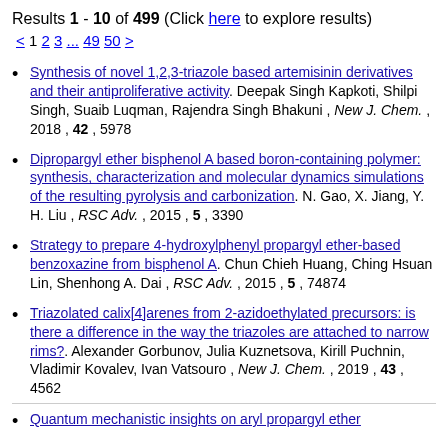Results 1 - 10 of 499 (Click here to explore results)
< 1 2 3 ... 49 50 >
Synthesis of novel 1,2,3-triazole based artemisinin derivatives and their antiproliferative activity. Deepak Singh Kapkoti, Shilpi Singh, Suaib Luqman, Rajendra Singh Bhakuni , New J. Chem. , 2018 , 42 , 5978
Dipropargyl ether bisphenol A based boron-containing polymer: synthesis, characterization and molecular dynamics simulations of the resulting pyrolysis and carbonization. N. Gao, X. Jiang, Y. H. Liu , RSC Adv. , 2015 , 5 , 3390
Strategy to prepare 4-hydroxylphenyl propargyl ether-based benzoxazine from bisphenol A. Chun Chieh Huang, Ching Hsuan Lin, Shenhong A. Dai , RSC Adv. , 2015 , 5 , 74874
Triazolated calix[4]arenes from 2-azidoethylated precursors: is there a difference in the way the triazoles are attached to narrow rims?. Alexander Gorbunov, Julia Kuznetsova, Kirill Puchnin, Vladimir Kovalev, Ivan Vatsouro , New J. Chem. , 2019 , 43 , 4562
Quantum mechanistic insights on aryl propargyl ether